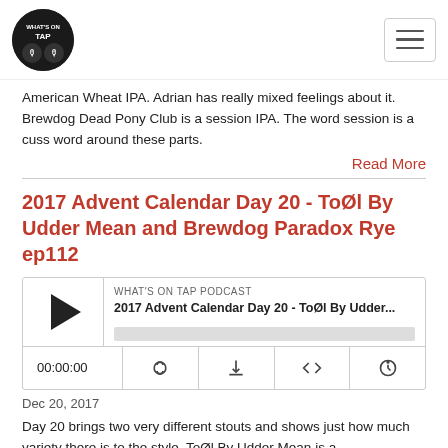What's On Tap Podcast
American Wheat IPA. Adrian has really mixed feelings about it. Brewdog Dead Pony Club is a session IPA. The word session is a cuss word around these parts.
Read More
2017 Advent Calendar Day 20 - ToØl By Udder Mean and Brewdog Paradox Rye ep112
[Figure (other): Embedded podcast audio player showing episode: 2017 Advent Calendar Day 20 - ToØl By Udder... with play button, progress bar, time 00:00:00, and control icons for RSS, download, embed, and settings.]
Dec 20, 2017
Day 20 brings two very different stouts and shows just how much variety there is to the style. ToØl By Udder Mean is a